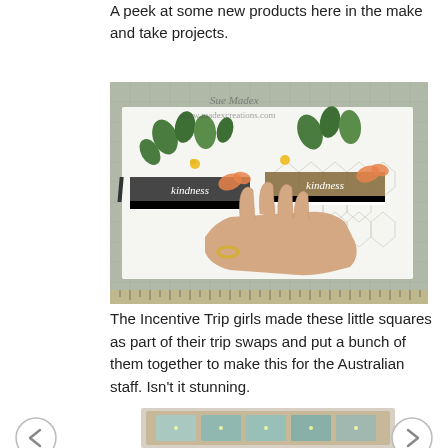A peek at some new products here in the make and take projects.
[Figure (photo): Photograph of two handmade greeting cards decorated with leaves, butterflies, and 'kindness' banners, laid on a crafting mat. A hand with rings is visible holding one of the cards. Watermark reads 'Sue Madex www.madexcreations.com']
The Incentive Trip girls made these little squares as part of their trip swaps and put a bunch of them together to make this for the Australian staff.  Isn't it stunning.
[Figure (photo): Partial photo of a framed display with small square stamped cards in teal/blue tones, illuminated by small lights.]
[Figure (illustration): Left navigation arrow (chevron left)]
[Figure (illustration): Right navigation arrow (chevron right)]